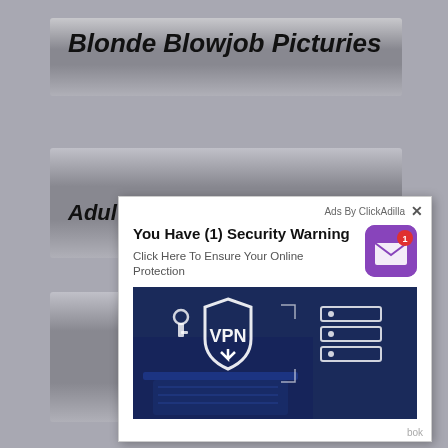Blonde Blowjob Picturies
Adult Tit...
[Figure (screenshot): Ad popup overlay from ClickAdilla showing a security warning advertisement. Contains header 'Ads By ClickAdilla' with close button X, headline 'You Have (1) Security Warning', subtext 'Click Here To Ensure Your Online Protection', a purple mail icon with red badge showing '1', and a VPN-themed image of a person typing on a laptop with VPN shield and server icons overlaid.]
bok
fine print text at bottom